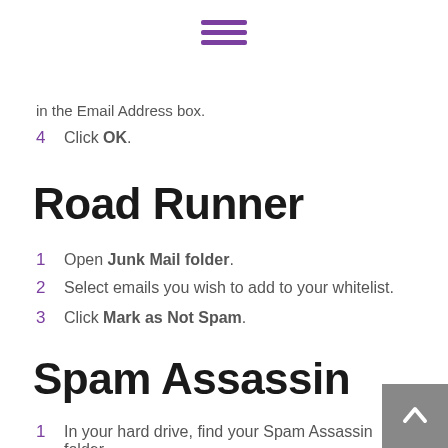[Figure (other): Purple hamburger menu icon (three horizontal lines)]
in the Email Address box.
4   Click OK.
Road Runner
1   Open Junk Mail folder.
2   Select emails you wish to add to your whitelist.
3   Click Mark as Not Spam.
Spam Assassin
1   In your hard drive, find your Spam Assassin folder.